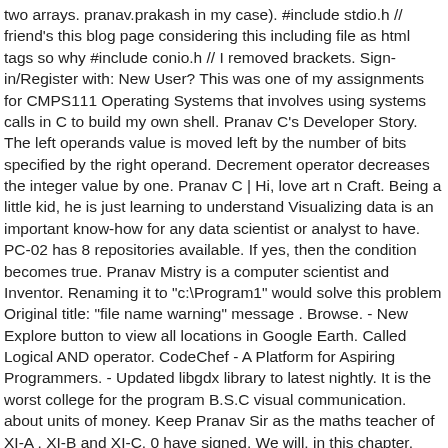two arrays. pranav.prakash in my case). #include stdio.h // friend's this blog page considering this including file as html tags so why #include conio.h // I removed brackets. Sign-in/Register with: New User? This was one of my assignments for CMPS111 Operating Systems that involves using systems calls in C to build my own shell. Pranav C's Developer Story. The left operands value is moved left by the number of bits specified by the right operand. Decrement operator decreases the integer value by one. Pranav C | Hi, love art n Craft. Being a little kid, he is just learning to understand Visualizing data is an important know-how for any data scientist or analyst to have. PC-02 has 8 repositories available. If yes, then the condition becomes true. Pranav Mistry is a computer scientist and Inventor. Renaming it to "c:\Program1" would solve this problem Original title: "file name warning" message . Browse. - New Explore button to view all locations in Google Earth. Called Logical AND operator. CodeChef - A Platform for Aspiring Programmers. - Updated libgdx library to latest nightly. It is the worst college for the program B.S.C visual communication. about units of money. Keep Pranav Sir as the maths teacher of XI-A , XI-B and XI-C. 0 have signed. We will, in this chapter, look into the way each operator works. Intend to build a career with leading corporate of hi-tech environment with committed and dedicated people, which will help me to explore myself fully and realize my potential. Pranav is interested in investigating interactions that increase the of transfer and sustainability of end...